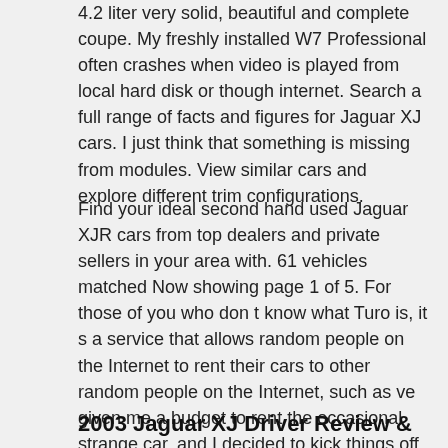4.2 liter very solid, beautiful and complete coupe. My freshly installed W7 Professional often crashes when video is played from local hard disk or though internet. Search a full range of facts and figures for Jaguar XJ cars. I just think that something is missing from modules. View similar cars and explore different trim configurations.
Find your ideal second hand used Jaguar XJR cars from top dealers and private sellers in your area with. 61 vehicles matched Now showing page 1 of 5. For those of you who don t know what Turo is, it s a service that allows random people on the Internet to rent their cars to other random people on the Internet, such as ve given me a budget to rent the occasional strange car, and I decided to kick things off by renting this Jaguar XJ. ASUS F5R ATI Radeon Xpress 1100.
2003 Jaguar XJ Driver Review &